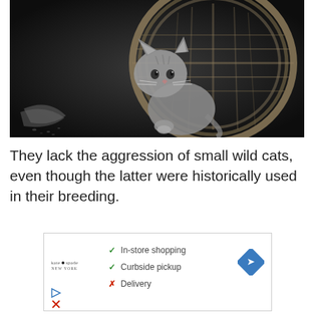[Figure (photo): Black and white photograph of a young tabby kitten sitting inside/beside a wicker basket on a dark background, with a piece of cloth to the left.]
They lack the aggression of small wild cats, even though the latter were historically used in their breeding.
[Figure (screenshot): Advertisement box with Kate Spade logo and checklist: green checkmarks for 'In-store shopping' and 'Curbside pickup', red X for 'Delivery'. Blue navigation arrow icon on right. Small play and close icons on lower left.]